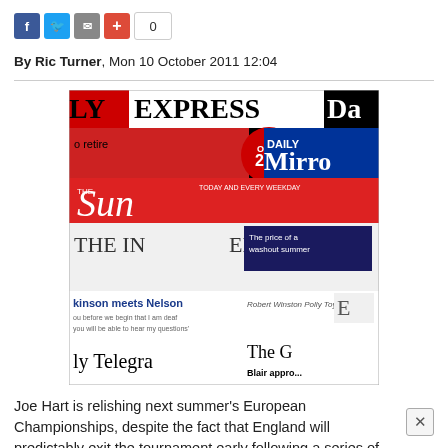[Figure (other): Social media sharing buttons: Facebook, Twitter, Email, Google+, and a count box showing 0]
By Ric Turner, Mon 10 October 2011 12:04
[Figure (photo): Collage of British newspaper front pages including Daily Express, Daily Mirror, The Sun, The Independent, Daily Telegraph, and The Guardian]
Joe Hart is relishing next summer's European Championships, despite the fact that England will predictably exit the tournament early following a series of lacklustre performances.